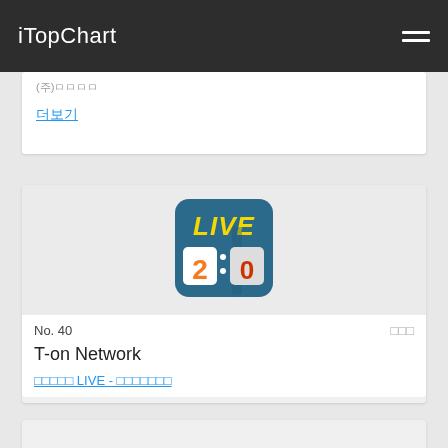iTopChart
(주)...
더보기
[Figure (screenshot): App icon for LIVE score app showing 'LIVE 2:0' on a dark teal background with orange and white scoreboard numbers]
No. 40
T-on Network
스포츠 LIVE - 실시간 스코어